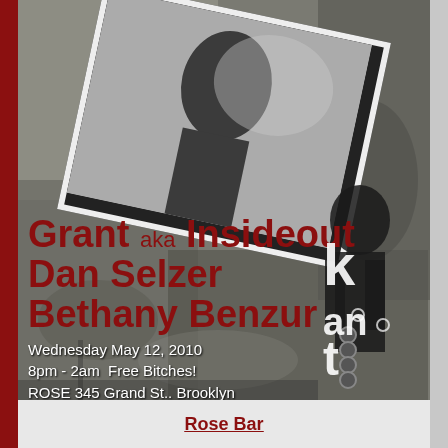[Figure (photo): Event flyer with dark grungy textured background, a tilted photo/polaroid showing a silhouetted figure, and a partial figure on the right side. Decorative kisstell text/logo on right.]
Grant aka Insideout
Dan Selzer
Bethany Benzur
Wednesday May 12, 2010
8pm - 2am  Free Bitches!
ROSE 345 Grand St.. Brooklyn
www.sdphotography.net/kisstell
beyond
Rose Bar